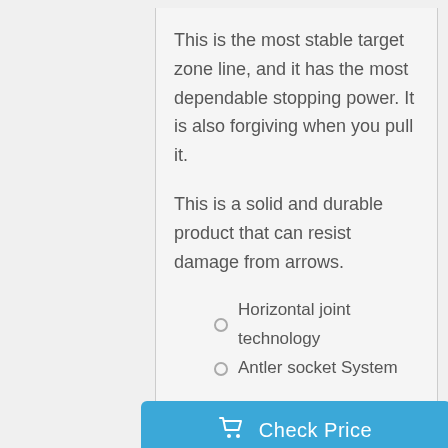This is the most stable target zone line, and it has the most dependable stopping power. It is also forgiving when you pull it.
This is a solid and durable product that can resist damage from arrows.
Horizontal joint technology
Antler socket System
[Figure (other): Blue 'Check Price' button with shopping cart icon]